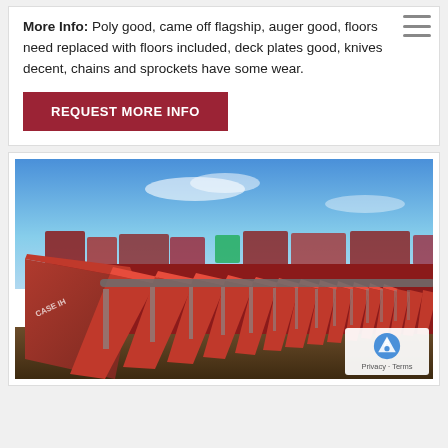More Info: Poly good, came off flagship, auger good, floors need replaced with floors included, deck plates good, knives decent, chains and sprockets have some wear.
REQUEST MORE INFO
[Figure (photo): Outdoor photo of a large red corn header (combine attachment) with multiple row units lined up, viewed from a low angle. Additional red farm equipment visible in background under a clear blue sky.]